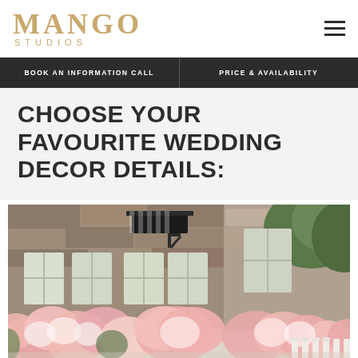MANGO STUDIOS
BOOK AN INFORMATION CALL | PRICE & AVAILABILITY
CHOOSE YOUR FAVOURITE WEDDING DECOR DETAILS:
[Figure (photo): Outdoor wedding reception at a stone manor with abundant pink and white floral arrangements on long dining tables, lush greenery, and white chairs]